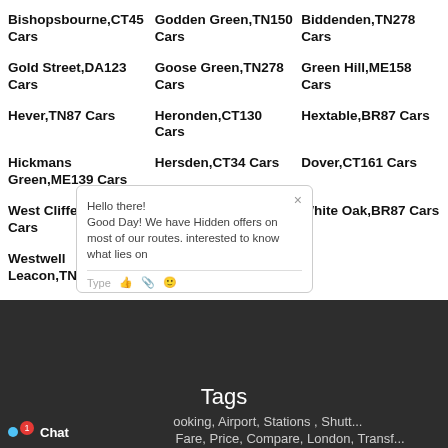Bishopsbourne,CT45 Cars
Godden Green,TN150 Cars
Biddenden,TN278 Cars
Gold Street,DA123 Cars
Goose Green,TN278 Cars
Green Hill,ME158 Cars
Hever,TN87 Cars
Heronden,CT130 Cars
Hextable,BR87 Cars
Hickmans Green,ME139 Cars
Hersden,CT34 Cars
Dover,CT161 Cars
West Cliffe,CT156 Cars
Fairbourne Heath,ME171 Cars
White Oak,BR87 Cars
Westwell Leacon,TN270 Cars
Thanington,CT13 Cars
Tags
Uk, Taxis, Quote, Mini cabs, Booking, Airport, Stations , Shuttle, ail, Best, Reliable Safe, Cabs, Fare, Price, Compare, London, Transf...